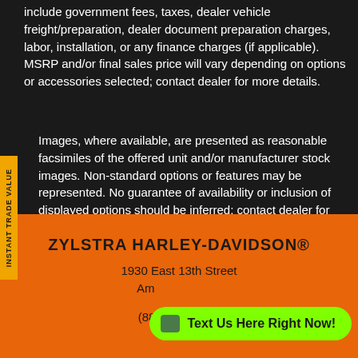include government fees, taxes, dealer vehicle freight/preparation, dealer document preparation charges, labor, installation, or any finance charges (if applicable). MSRP and/or final sales price will vary depending on options or accessories selected; contact dealer for more details.
Images, where available, are presented as reasonable facsimiles of the offered unit and/or manufacturer stock images. Non-standard options or features may be represented. No guarantee of availability or inclusion of displayed options should be inferred; contact dealer for more details.
ZYLSTRA HARLEY-DAVIDSON®
1930 East 13th Street
Am...
(888) 864-7326